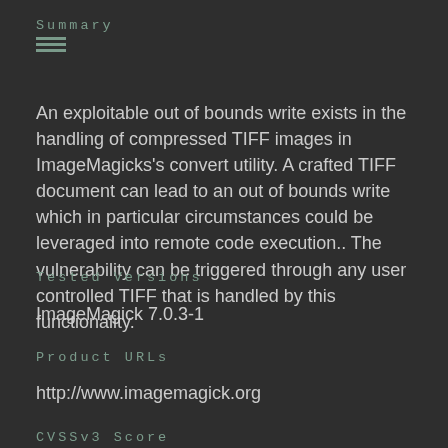Summary
An exploitable out of bounds write exists in the handling of compressed TIFF images in ImageMagicks's convert utility. A crafted TIFF document can lead to an out of bounds write which in particular circumstances could be leveraged into remote code execution.. The vulnerability can be triggered through any user controlled TIFF that is handled by this functionality.
Tested Versions
ImageMagick 7.0.3-1
Product URLs
http://www.imagemagick.org
CVSSv3 Score